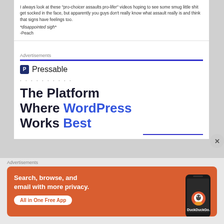I always look at these "pro-choicer assaults pro-lifer" videos hoping to see some smug little shit get socked in the face, but apparently you guys don't really know what assault really is and think that signs have feelings too.
*disappointed sigh*
-Peach
Advertisements
[Figure (infographic): Pressable advertisement: logo with 'P' icon and 'Pressable' text, dotted line, bold headline 'The Platform Where WordPress Works Best']
Advertisements
[Figure (infographic): DuckDuckGo advertisement on orange background: 'Search, browse, and email with more privacy. All in One Free App' with phone graphic and DuckDuckGo logo]